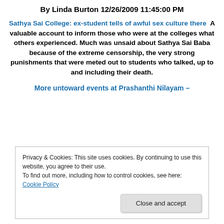By Linda Burton 12/26/2009 11:45:00 PM
Sathya Sai College: ex-student tells of awful sex culture there  A valuable account to inform those who were at the colleges what others experienced. Much was unsaid about Sathya Sai Baba because of the extreme censorship, the very strong punishments that were meted out to students who talked, up to and including their death.
More untoward events at Prashanthi Nilayam –
Privacy & Cookies: This site uses cookies. By continuing to use this website, you agree to their use.
To find out more, including how to control cookies, see here: Cookie Policy